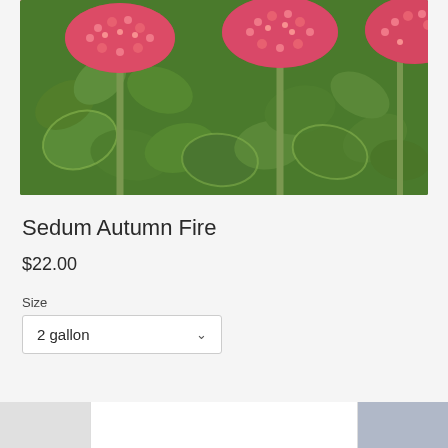[Figure (photo): Close-up photo of Sedum Autumn Fire plant with bright pink/red flower clusters on top of thick green succulent leaves with light-colored edges]
Sedum Autumn Fire
$22.00
Size
2 gallon